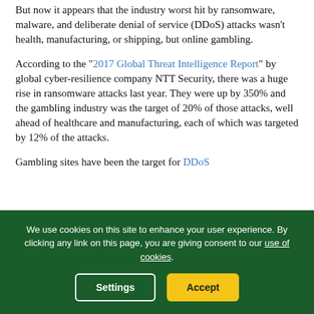But now it appears that the industry worst hit by ransomware, malware, and deliberate denial of service (DDoS) attacks wasn't health, manufacturing, or shipping, but online gambling.
According to the "2017 Global Threat Intelligence Report" by global cyber-resilience company NTT Security, there was a huge rise in ransomware attacks last year. They were up by 350% and the gambling industry was the target of 20% of those attacks, well ahead of healthcare and manufacturing, each of which was targeted by 12% of the attacks.
Gambling sites have been the target for DDoS...
We use cookies on this site to enhance your user experience. By clicking any link on this page, you are giving consent to our use of cookies.